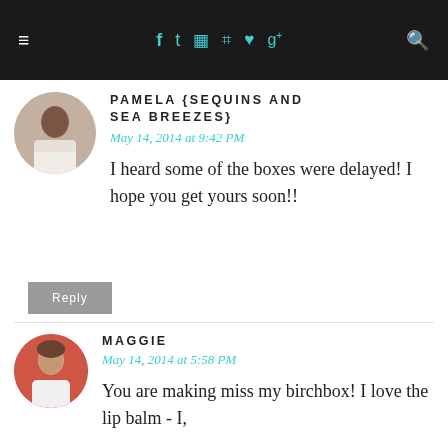≡  f  t  ⊡  ⊕  ♥  g+  🔍
PAMELA {SEQUINS AND SEA BREEZES}
May 14, 2014 at 9:42 PM
I heard some of the boxes were delayed! I hope you get yours soon!!
Reply
MAGGIE
May 14, 2014 at 5:58 PM
You are making miss my birchbox! I love the lip balm - I,